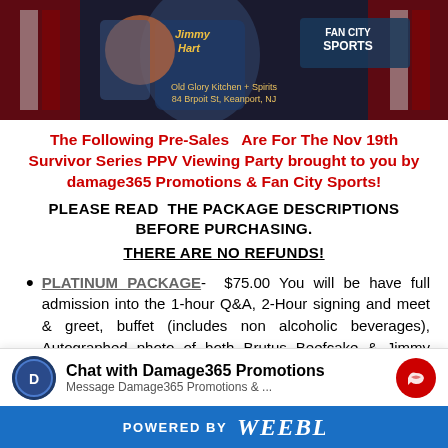[Figure (photo): Event promotional photo showing Jimmy Hart and Fan City Sports branding with text 'Old Glory Kitchen + Spirits, 84 Brpoit St, Keanport, NJ']
The Following Pre-Sales  Are For The Nov 19th Survivor Series PPV Viewing Party brought to you by damage365 Promotions & Fan City Sports!
PLEASE READ THE PACKAGE DESCRIPTIONS BEFORE PURCHASING.
THERE ARE NO REFUNDS!
PLATINUM PACKAGE-  $75.00 You will be have full admission into the 1-hour Q&A, 2-Hour signing and meet & greet, buffet (includes non alcoholic beverages), Autographed photo of both Brutus Beefcake & Jimmy Hart, Photo Opp with the team of Brutus Beefcake & Jimmy Hart, 1-free additional signed item of
Chat with Damage365 Promotions
POWERED BY weebly